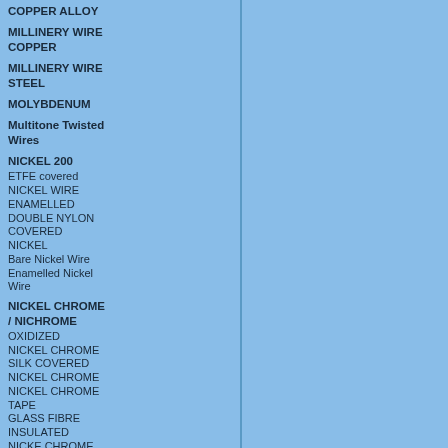MILLINERY WIRE COPPER
MILLINERY WIRE STEEL
MOLYBDENUM
Multitone Twisted Wires
NICKEL 200
ETFE covered
NICKEL WIRE ENAMELLED
DOUBLE NYLON COVERED
NICKEL
Bare Nickel Wire
Enamelled Nickel Wire
NICKEL CHROME / NICHROME
OXIDIZED NICKEL CHROME
SILK COVERED NICKEL CHROME
NICKEL CHROME TAPE
GLASS FIBRE INSULATED
NICKE CHROME (80/20)
ENAMELLED NICKEL CHROME
Bare Nickel Chrome Wire
PTFE Nickel